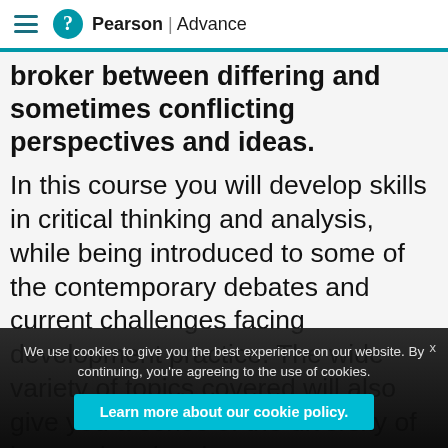Pearson | Advance
broker between differing and sometimes conflicting perspectives and ideas.
In this course you will develop skills in critical thinking and analysis, while being introduced to some of the contemporary debates and current challenges facing development practice. The wide variety of topics covered will also give you a sense of the diversity of issues that development
We use cookies to give you the best experience on our website. By continuing, you're agreeing to the use of cookies.
Learn more about our cookie policy.